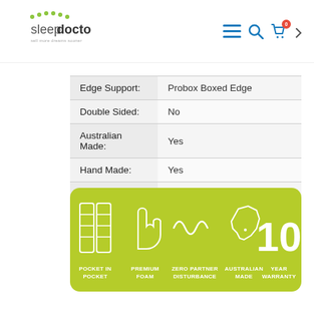[Figure (logo): Sleep Doctor logo with green dot arc above text and tagline]
| Attribute | Value |
| --- | --- |
| Edge Support: | Probox Boxed Edge |
| Double Sided: | No |
| Australian Made: | Yes |
| Hand Made: | Yes |
| Custom Sizes: | Yes |
| Guarantee: | 10 Years |
[Figure (infographic): Green rounded rectangle banner with 5 icons: Pocket In Pocket, Premium Foam, Zero Partner Disturbance, Australian Made, 10 Year Warranty]